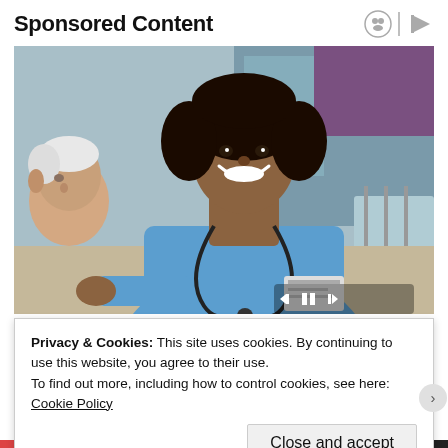Sponsored Content
[Figure (photo): A smiling female nurse in blue scrubs with a stethoscope around her neck, leaning toward an elderly patient. Hospital room setting visible in the background.]
Privacy & Cookies: This site uses cookies. By continuing to use this website, you agree to their use.
To find out more, including how to control cookies, see here: Cookie Policy
Close and accept